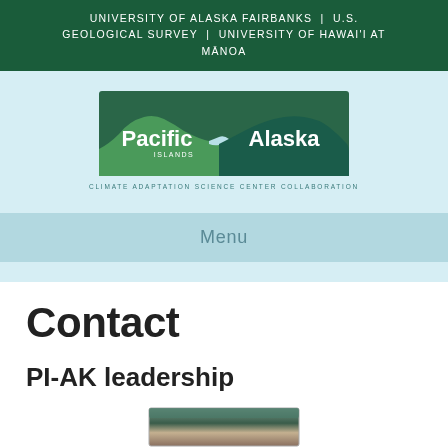UNIVERSITY OF ALASKA FAIRBANKS | U.S. GEOLOGICAL SURVEY | UNIVERSITY OF HAWAI'I AT MĀNOA
[Figure (logo): Pacific Islands Alaska Climate Adaptation Science Center Collaboration logo — mountain silhouette in green and dark teal with white text]
Menu
Contact
PI-AK leadership
[Figure (photo): Partial photo strip at bottom of page showing landscape or group photo]